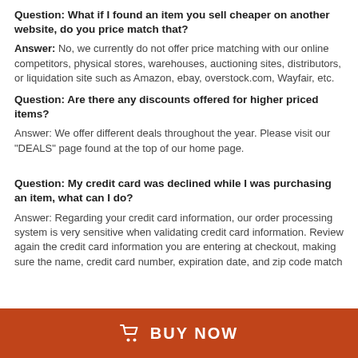Question: What if I found an item you sell cheaper on another website, do you price match that?
Answer: No, we currently do not offer price matching with our online competitors, physical stores, warehouses, auctioning sites, distributors, or liquidation site such as Amazon, ebay, overstock.com, Wayfair, etc.
Question: Are there any discounts offered for higher priced items?
Answer: We offer different deals throughout the year. Please visit our "DEALS" page found at the top of our home page.
Question: My credit card was declined while I was purchasing an item, what can I do?
Answer: Regarding your credit card information, our order processing system is very sensitive when validating credit card information. Review again the credit card information you are entering at checkout, making sure the name, credit card number, expiration date, and zip code match
🛒  BUY NOW